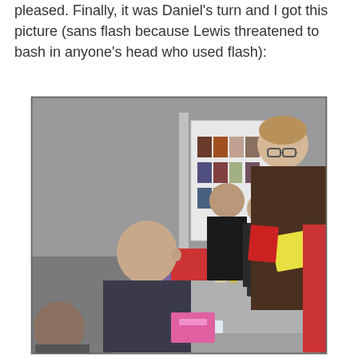pleased. Finally, it was Daniel's turn and I got this picture (sans flash because Lewis threatened to bash in anyone's head who used flash):
[Figure (photo): A photograph taken at what appears to be a book signing event or book fair. A bald man in a dark striped shirt sits at a table signing books, looking up at a tall man with glasses who is holding a yellow paper and a red book. In the background, other people browse a display of books on shelves.]